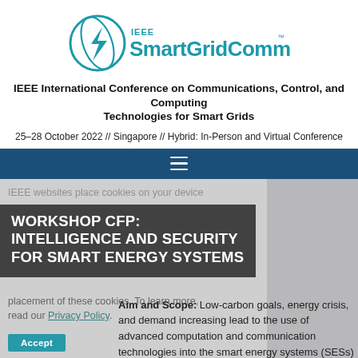[Figure (logo): IEEE SmartGridComm logo with circular lightning bolt icon and teal text]
IEEE International Conference on Communications, Control, and Computing Technologies for Smart Grids
25–28 October 2022 // Singapore // Hybrid: In-Person and Virtual Conference
WORKSHOP CFP: INTELLIGENCE AND SECURITY FOR SMART ENERGY SYSTEMS
IEEE websites place cookies on your device
placement of these cookies. To learn more, read our Privacy Policy.
Aim and Scope: Low-carbon goals, energy crisis, and demand increasing lead to the use of advanced computation and communication technologies into the smart energy systems (SESs) to enable the environmental-friendly, real-time, and